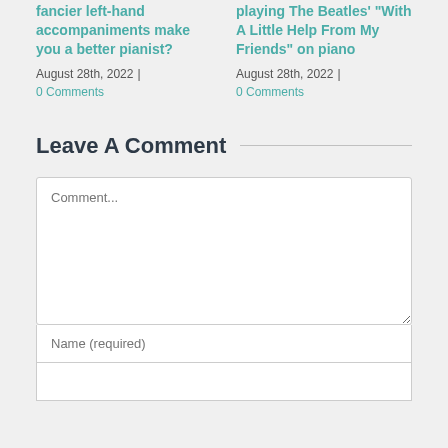fancier left-hand accompaniments make you a better pianist?
August 28th, 2022 | 0 Comments
playing The Beatles' "With A Little Help From My Friends" on piano
August 28th, 2022 | 0 Comments
Leave A Comment
[Figure (other): Comment form with textarea placeholder 'Comment...', name input 'Name (required)', and email input field]